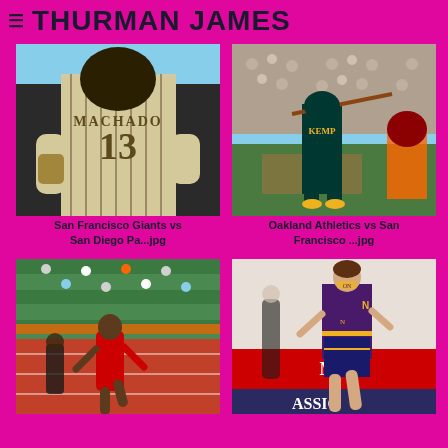THURMAN JAMES
[Figure (photo): Baseball player Machado #13 from San Diego Padres, back view, wearing helmet and pinstripe jersey]
San Francisco Giants vs San Diego Pa...jpg
[Figure (photo): Oakland Athletics baseball player Kemp swinging bat at the plate, catcher and crowd in background]
Oakland Athletics vs San Francisco ...jpg
[Figure (photo): Female sprinter running on red track with green stadium seats in background]
[Figure (photo): Female athlete running in purple and gold New Balance uniform, indoor track meet with Vodafone banner]